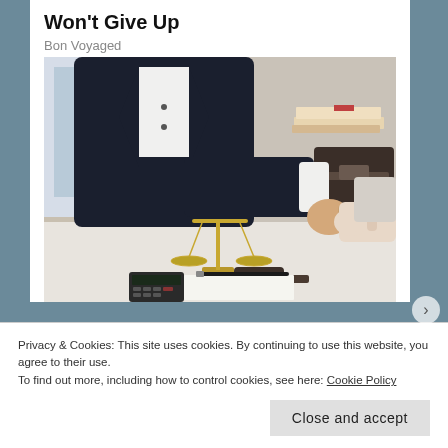Won't Give Up
Bon Voyaged
[Figure (photo): Two people shaking hands across a desk with a scales of justice figurine, a gavel, a calculator, a coffee cup, and stacked files in the background. The scene appears to be a legal office meeting.]
Privacy & Cookies: This site uses cookies. By continuing to use this website, you agree to their use.
To find out more, including how to control cookies, see here: Cookie Policy
Close and accept